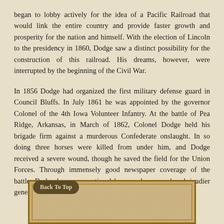began to lobby actively for the idea of a Pacific Railroad that would link the entire country and provide faster growth and prosperity for the nation and himself. With the election of Lincoln to the presidency in 1860, Dodge saw a distinct possibility for the construction of this railroad. His dreams, however, were interrupted by the beginning of the Civil War.
In 1856 Dodge had organized the first military defense guard in Council Bluffs. In July 1861 he was appointed by the governor Colonel of the 4th Iowa Volunteer Infantry. At the battle of Pea Ridge, Arkansas, in March of 1862, Colonel Dodge held his brigade firm against a murderous Confederate onslaught. In so doing three horses were killed from under him, and Dodge received a severe wound, though he saved the field for the Union Forces. Through immensely good newspaper coverage of the battle, Dodge became a national hero, and was made a brigadier general.
[Figure (illustration): A partially visible aged/vintage paper or parchment image with a decorative border, with a 'Back To Top' button overlaid at the bottom left.]